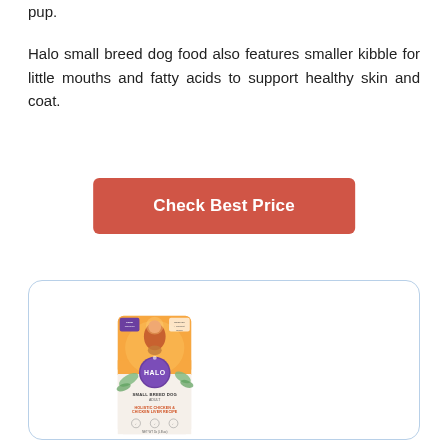pup.
Halo small breed dog food also features smaller kibble for little mouths and fatty acids to support healthy skin and coat.
[Figure (other): Red/coral rectangular button with white bold text reading 'Check Best Price']
[Figure (photo): Halo Small Breed Dog Holistic Chicken & Chicken Liver Recipe dry dog food bag in orange and white packaging with purple Halo logo circle, shown inside a light blue bordered rounded card.]